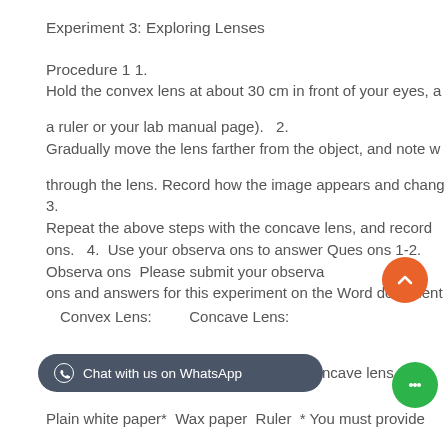Experiment 3: Exploring Lenses
Procedure 1  1.
Hold the convex lens at about 30 cm in front of your eyes, a
a ruler or your lab manual page).   2.
Gradually move the lens farther from the object, and note w
through the lens. Record how the image appears and chang
3.
Repeat the above steps with the concave lens, and record
ons.   4.  Use your observa ons to answer Ques ons 1-2.
Observa ons  Please submit your observa
ons and answers for this experiment on the Word document
Convex Lens:          Concave Lens:
[Figure (screenshot): Dark rounded rectangle button with WhatsApp icon and text 'Chat with us on WhatsApp']
ncave lens
Plain white paper*  Wax paper  Ruler  * You must provide